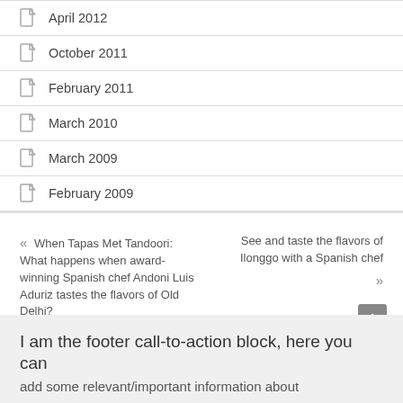April 2012
October 2011
February 2011
March 2010
March 2009
February 2009
« When Tapas Met Tandoori: What happens when award-winning Spanish chef Andoni Luis Aduriz tastes the flavors of Old Delhi?
See and taste the flavors of Ilonggo with a Spanish chef »
I am the footer call-to-action block, here you can add some relevant/important information about